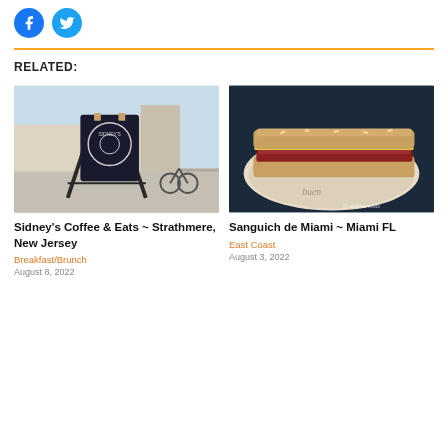[Figure (other): Facebook and Twitter social share buttons (circular icons)]
RELATED:
[Figure (photo): Outdoor photo of Sidney's Coffee & Eats signage on a sandwich board stand, with a coastal town street in the background]
Sidney's Coffee & Eats ~ Strathmere, New Jersey
Breakfast/Brunch
August 8, 2022
[Figure (photo): Close-up photo of a grilled sandwich cut in half, wrapped in parchment paper, with @alekhaneats watermark]
Sanguich de Miami ~ Miami FL
East Coast
August 3, 2022